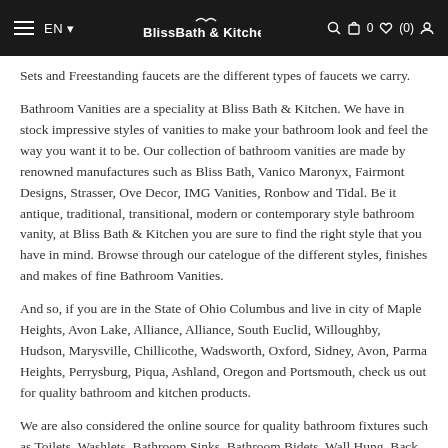EN | BlissBath & Kitchen | 0 (0)
Sets and Freestanding faucets are the different types of faucets we carry.
Bathroom Vanities are a speciality at Bliss Bath & Kitchen. We have in stock impressive styles of vanities to make your bathroom look and feel the way you want it to be. Our collection of bathroom vanities are made by renowned manufactures such as Bliss Bath, Vanico Maronyx, Fairmont Designs, Strasser, Ove Decor, IMG Vanities, Ronbow and Tidal. Be it antique, traditional, transitional, modern or contemporary style bathroom vanity, at Bliss Bath & Kitchen you are sure to find the right style that you have in mind. Browse through our catelogue of the different styles, finishes and makes of fine Bathroom Vanities.
And so, if you are in the State of Ohio Columbus and live in city of Maple Heights, Avon Lake, Alliance, Alliance, South Euclid, Willoughby, Hudson, Marysville, Chillicothe, Wadsworth, Oxford, Sidney, Avon, Parma Heights, Perrysburg, Piqua, Ashland, Oregon and Portsmouth, check us out for quality bathroom and kitchen products.
We are also considered the online source for quality bathroom fixtures such as Toilets, Washlets, Bathroom Sinks, Bathroom Bidets, Wall Hung, Back